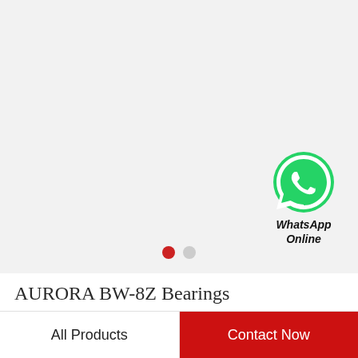[Figure (logo): WhatsApp green circle icon with white phone handset, with 'WhatsApp Online' text below]
AURORA BW-8Z Bearings
All Products
Contact Now